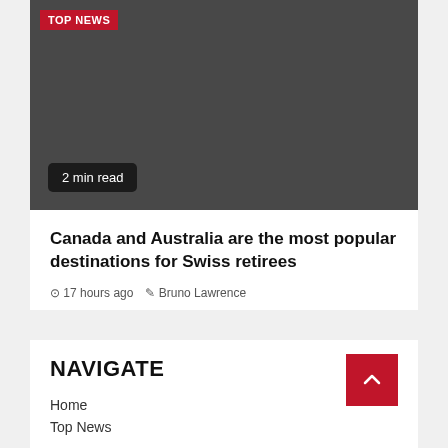[Figure (photo): Dark gray placeholder image with TOP NEWS badge at top left and '2 min read' badge at bottom left]
Canada and Australia are the most popular destinations for Swiss retirees
17 hours ago  Bruno Lawrence
NAVIGATE
Home
Top News